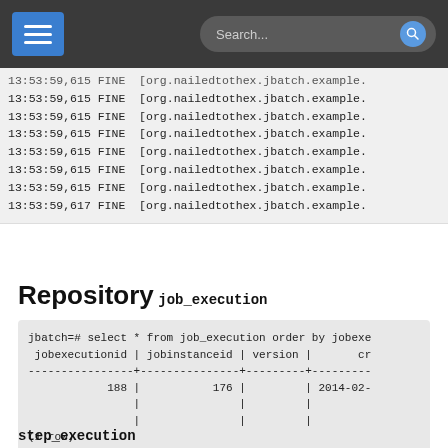Search...
13:53:59,615 FINE  [org.nailedtothex.jbatch.example.
13:53:59,615 FINE  [org.nailedtothex.jbatch.example.
13:53:59,615 FINE  [org.nailedtothex.jbatch.example.
13:53:59,615 FINE  [org.nailedtothex.jbatch.example.
13:53:59,615 FINE  [org.nailedtothex.jbatch.example.
13:53:59,615 FINE  [org.nailedtothex.jbatch.example.
13:53:59,615 FINE  [org.nailedtothex.jbatch.example.
13:53:59,617 FINE  [org.nailedtothex.jbatch.example.
Repository
job_execution
jbatch=# select * from job_execution order by jobexe
 jobexecutionid | jobinstanceid | version |       cr
----------------+---------------+---------+---------
            188 |           176 |         | 2014-02-
                |               |         |
                |               |         |
(1 row)
step_execution